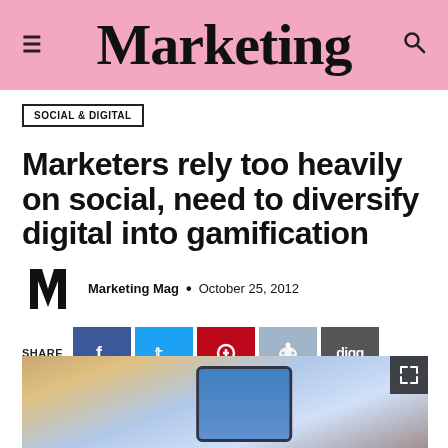Marketing
SOCIAL & DIGITAL
Marketers rely too heavily on social, need to diversify digital into gamification
Marketing Mag · October 25, 2012
SHARE
[Figure (photo): Photo of a tablet device with a laptop in a dark setting, partially visible at bottom of page]